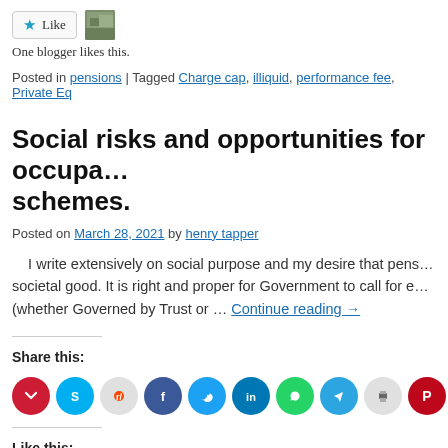[Figure (other): Like button with star icon and blogger avatar thumbnail]
One blogger likes this.
Posted in pensions | Tagged Charge cap, illiquid, performance fee, Private Eq...
Social risks and opportunities for occupational pension schemes.
Posted on March 28, 2021 by henry tapper
I write extensively on social purpose and my desire that pensions do societal good. It is right and proper for Government to call for e... (whether Governed by Trust or … Continue reading →
Share this:
[Figure (other): Social sharing icon buttons: Pocket, Skype, Reddit, Facebook, Twitter, LinkedIn, WhatsApp, Telegram, Print, Pinterest, Mail]
Like this: